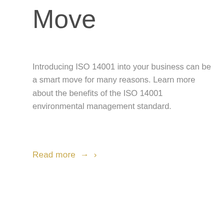Move
Introducing ISO 14001 into your business can be a smart move for many reasons. Learn more about the benefits of the ISO 14001 environmental management standard.
Read more → ›